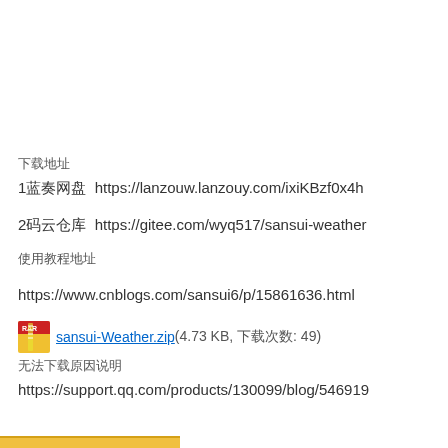下载地址
1蓝奏网盘  https://lanzouw.lanzouy.com/ixiKBzf0x4h
2码云仓库  https://gitee.com/wyq517/sansui-weather
使用教程地址
https://www.cnblogs.com/sansui6/p/15861636.html
sansui-Weather.zip (4.73 KB, 下载次数: 49)
无法下载原因说明
https://support.qq.com/products/130099/blog/546919